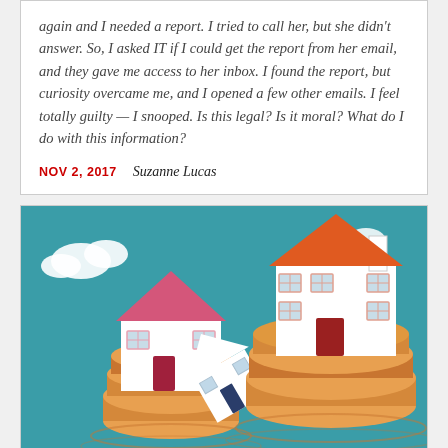again and I needed a report. I tried to call her, but she didn't answer. So, I asked IT if I could get the report from her email, and they gave me access to her inbox. I found the report, but curiosity overcame me, and I opened a few other emails. I feel totally guilty — I snooped. Is this legal? Is it moral? What do I do with this information?
NOV 2, 2017   Suzanne Lucas
[Figure (illustration): Colorful flat illustration of three cartoon houses sitting on stacks of gold coins, set against a teal sky with white clouds. One house has a pink/red roof (left), one has an orange roof (upper right, largest), and one is a smaller white house in the center-bottom leaning diagonally.]
Hot or Not?